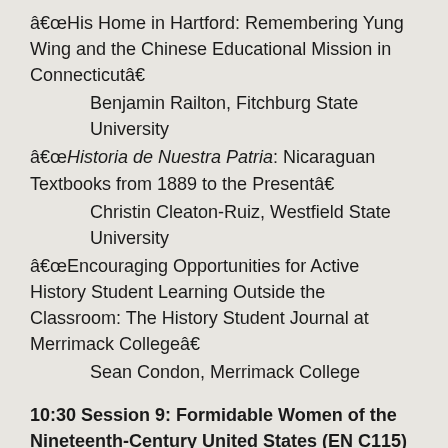â€œHis Home in Hartford: Remembering Yung Wing and the Chinese Educational Mission in Connecticutâ€
Benjamin Railton, Fitchburg State University
â€œHistoria de Nuestra Patria: Nicaraguan Textbooks from 1889 to the Presentâ€
Christin Cleaton-Ruiz, Westfield State University
â€œEncouraging Opportunities for Active History Student Learning Outside the Classroom: The History Student Journal at Merrimack Collegeâ€
Sean Condon, Merrimack College
10:30 Session 9: Formidable Women of the Nineteenth-Century United States (EN C115)
Chair and Comment: Heather Munro Prescott, Central Connecticut State University
â€œThe Sargent House Museum and its Connections